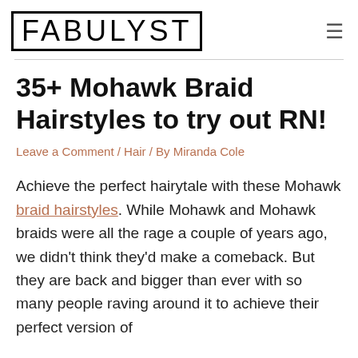FABULYST
35+ Mohawk Braid Hairstyles to try out RN!
Leave a Comment / Hair / By Miranda Cole
Achieve the perfect hairytale with these Mohawk braid hairstyles. While Mohawk and Mohawk braids were all the rage a couple of years ago, we didn't think they'd make a comeback. But they are back and bigger than ever with so many people raving around it to achieve their perfect version of